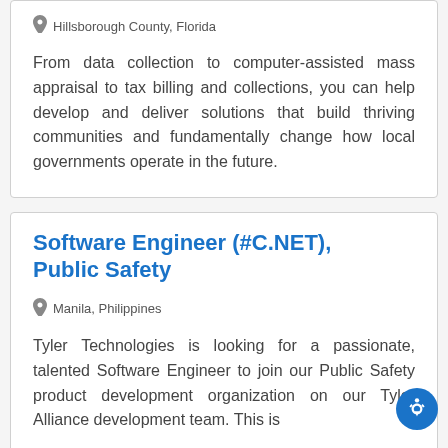Hillsborough County, Florida
From data collection to computer-assisted mass appraisal to tax billing and collections, you can help develop and deliver solutions that build thriving communities and fundamentally change how local governments operate in the future.
Software Engineer (#C.NET), Public Safety
Manila, Philippines
Tyler Technologies is looking for a passionate, talented Software Engineer to join our Public Safety product development organization on our Tyler Alliance development team. This is